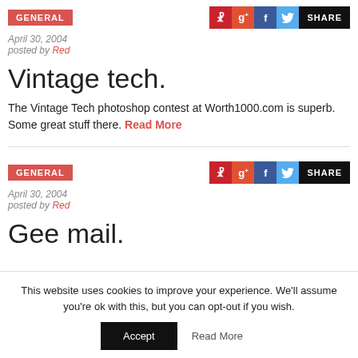GENERAL
April 30, 2004
posted by Red
Vintage tech.
The Vintage Tech photoshop contest at Worth1000.com is superb. Some great stuff there. Read More
GENERAL
April 30, 2004
posted by Red
Gee mail.
This website uses cookies to improve your experience. We'll assume you're ok with this, but you can opt-out if you wish.
Accept  Read More